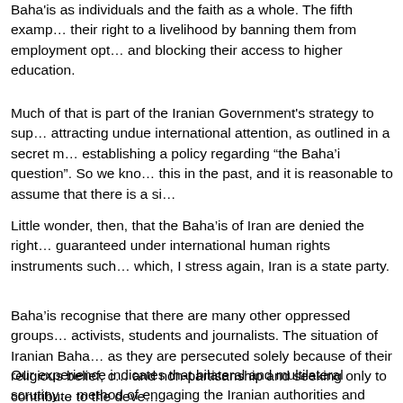Baha'is as individuals and the faith as a whole. The fifth example... their right to a livelihood by banning them from employment options and blocking their access to higher education.
Much of that is part of the Iranian Government's strategy to suppress... attracting undue international attention, as outlined in a secret memorandum establishing a policy regarding “the Baha’i question”. So we know they did this in the past, and it is reasonable to assume that there is a similar...
Little wonder, then, that the Baha’is of Iran are denied the rights guaranteed under international human rights instruments such as... which, I stress again, Iran is a state party.
Baha’is recognise that there are many other oppressed groups... activists, students and journalists. The situation of Iranian Baha’is... as they are persecuted solely because of their religious belief, their non-violence and non-partisanship and seeking only to contribute to the development...
Our experience indicates that bilateral and multilateral scrutiny is the best method of engaging the Iranian authorities and preventing further...